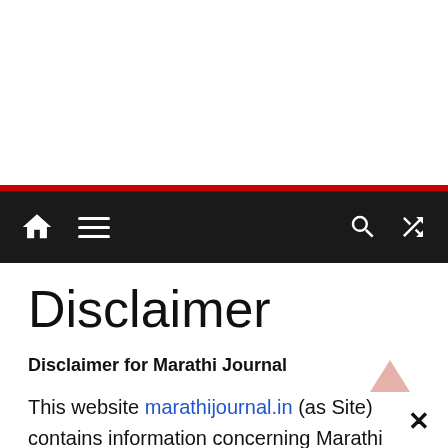[Figure (other): White advertisement/banner area at top of page]
Navigation bar with home, menu, search, and shuffle icons on dark background
Disclaimer
Disclaimer for Marathi Journal
This website marathijournal.in (as Site) contains information concerning Marathi Status, Quotes, Wishes SMS etc. That may be useful to Site's users (each, as Visiter). However, by using this site you are accepting all of the terms of this disclaimer notice, including exclusions and limitations of liability. If you do not agree with anything in this notice, you shoul